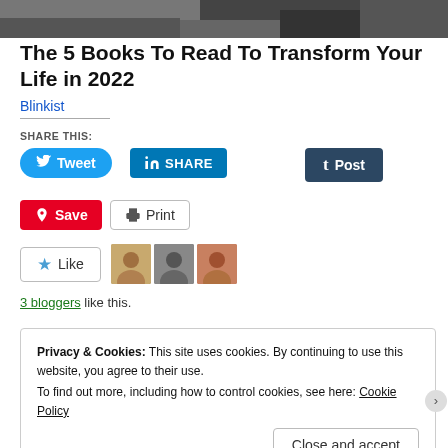[Figure (photo): Grayscale photograph header image — appears to show an animal or textured subject in black and white]
The 5 Books To Read To Transform Your Life in 2022
Blinkist
SHARE THIS:
[Figure (infographic): Social sharing buttons: Tweet (Twitter/blue), SHARE (LinkedIn/blue), Post (Tumblr/dark), Save (Pinterest/red), Print (gray outlined)]
[Figure (infographic): Like button with star icon, and three blogger avatar thumbnails]
3 bloggers like this.
Privacy & Cookies: This site uses cookies. By continuing to use this website, you agree to their use.
To find out more, including how to control cookies, see here: Cookie Policy
Close and accept